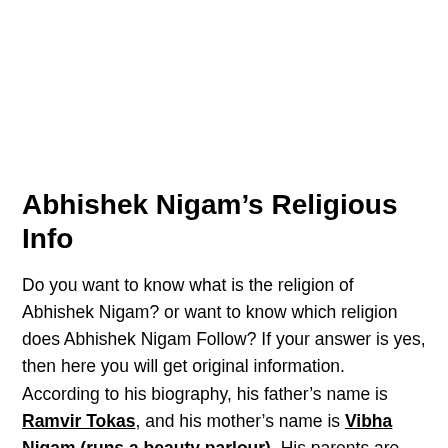Abhishek Nigam's Religious Info
Do you want to know what is the religion of Abhishek Nigam? or want to know which religion does Abhishek Nigam Follow? If your answer is yes, then here you will get original information. According to his biography, his father's name is Ramvir Tokas, and his mother's name is Vibha Nigam (runs a beauty parlour). His parents are from Hindu Religion. So, According to his birth, he follows the